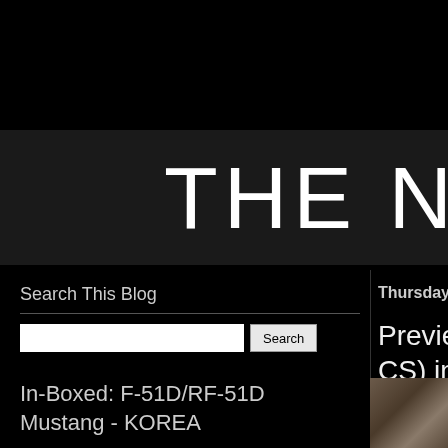THE N
Search This Blog
Thursday,
Preview: CS) in 3
In-Boxed: F-51D/RF-51D Mustang - KOREA